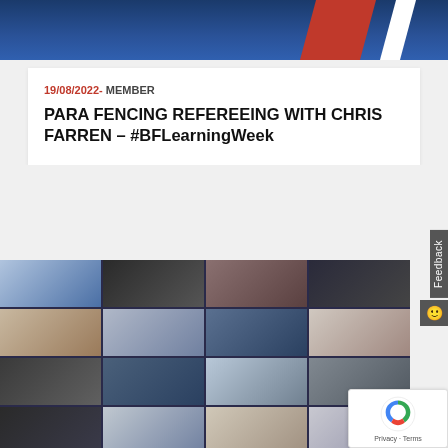[Figure (photo): Top banner showing fencing athletes in blue and red/white colors]
19/08/2022- MEMBER
PARA FENCING REFEREEING WITH CHRIS FARREN – #BFLearningWeek
[Figure (photo): Collage grid of fencing-related photographs showing athletes, equipment, and training scenes]
[Figure (other): reCAPTCHA badge with Privacy and Terms links]